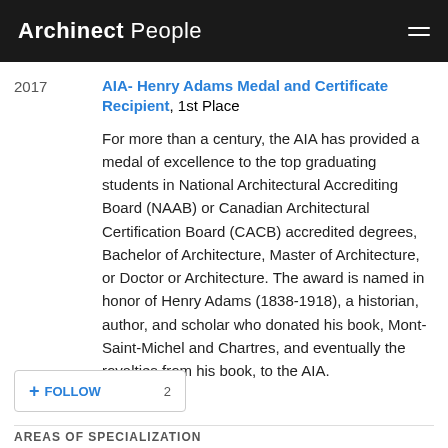Archinect People
2017
AIA- Henry Adams Medal and Certificate Recipient, 1st Place
For more than a century, the AIA has provided a medal of excellence to the top graduating students in National Architectural Accrediting Board (NAAB) or Canadian Architectural Certification Board (CACB) accredited degrees, Bachelor of Architecture, Master of Architecture, or Doctor or Architecture. The award is named in honor of Henry Adams (1838-1918), a historian, author, and scholar who donated his book, Mont-Saint-Michel and Chartres, and eventually the royalties from his book, to the AIA.
+ FOLLOW  2
AREAS OF SPECIALIZATION